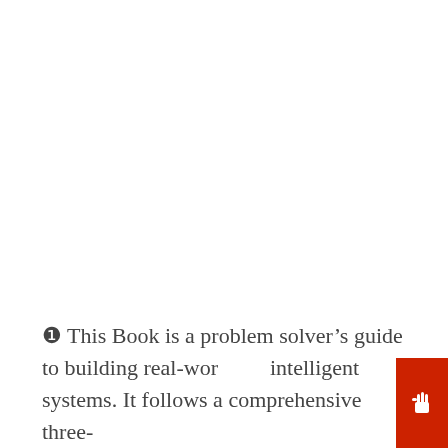❶ This Book is a problem solver's guide to building real-world intelligent systems. It follows a comprehensive three-